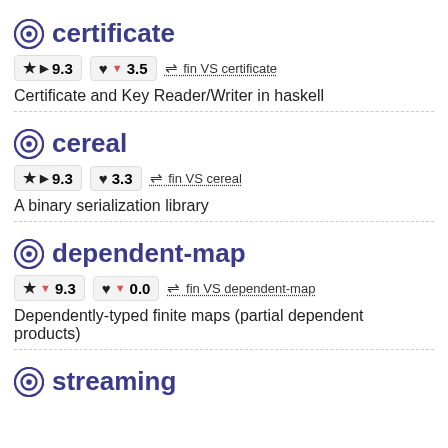certificate
★ ▶ 9.3   ♥ ▼ 3.5   ⇌ fin VS certificate
Certificate and Key Reader/Writer in haskell
cereal
★ ▶ 9.3   ♥ 3.3   ⇌ fin VS cereal
A binary serialization library
dependent-map
★ ▼ 9.3   ♥ ▼ 0.0   ⇌ fin VS dependent-map
Dependently-typed finite maps (partial dependent products)
streaming